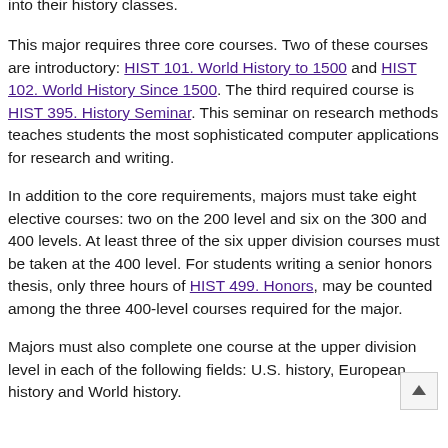into their history classes.
This major requires three core courses. Two of these courses are introductory: HIST 101. World History to 1500 and HIST 102. World History Since 1500. The third required course is HIST 395. History Seminar. This seminar on research methods teaches students the most sophisticated computer applications for research and writing.
In addition to the core requirements, majors must take eight elective courses: two on the 200 level and six on the 300 and 400 levels. At least three of the six upper division courses must be taken at the 400 level. For students writing a senior honors thesis, only three hours of HIST 499. Honors, may be counted among the three 400-level courses required for the major.
Majors must also complete one course at the upper division level in each of the following fields: U.S. history, European history and World history.